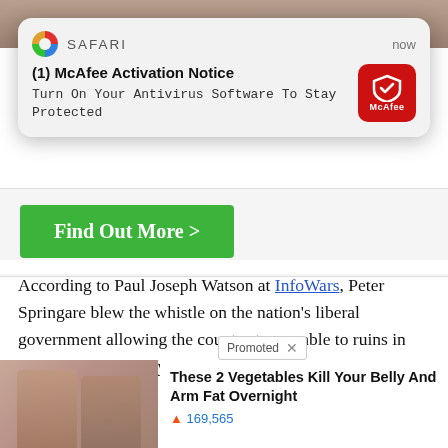[Figure (screenshot): Background image partially visible at top of page, obscured by Safari notification popup]
[Figure (screenshot): Safari browser push notification popup: SAFARI / now / (1) McAfee Activation Notice / Turn On Your Antivirus Software To Stay Protected / McAfee red shield icon]
[Figure (screenshot): Green 'Find Out More >' button in a light gray box]
According to Paul Joseph Watson at InfoWars, Peter Springare blew the whistle on the nation's liberal government allowing the country to crumble to ruins in the name of diversity and multiculturalism. I... ost,
[Figure (photo): Ad image: two women shown from behind in swimwear (before/after)]
These 2 Vegetables Kill Your Belly And Arm Fat Overnight
🔥 169,565
[Figure (photo): Ad image: abstract colorful light rays with play button overlay]
Why You Need This Strange Device When The Grid Goes Down
🔥 5,383